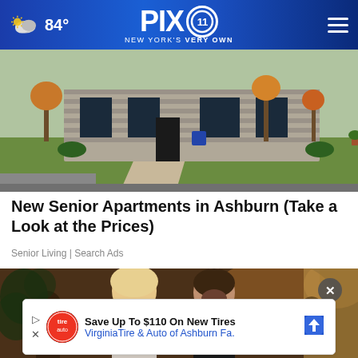84° PIX11 NEW YORK'S VERY OWN
[Figure (photo): Exterior of a stone house with green lawn, driveway, and autumn trees]
New Senior Apartments in Ashburn (Take a Look at the Prices)
Senior Living | Search Ads
[Figure (photo): A couple dressed formally, the woman is blonde, the man is in a tuxedo, at an event]
Save Up To $110 On New Tires VirginiaTire & Auto of Ashburn Fa.